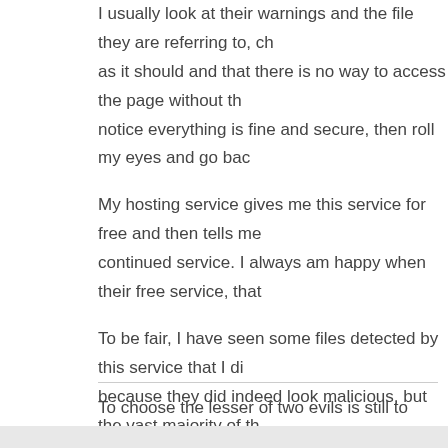I usually look at their warnings and the file they are referring to, ch as it should and that there is no way to access the page without th notice everything is fine and secure, then roll my eyes and go bac
My hosting service gives me this service for free and then tells me continued service. I always am happy when their free service, that
To be fair, I have seen some files detected by this service that I di because they did indeed look malicious, but the vast majority of th reviewed and ignored.
P.S. I still use this script on my site too 🙂
To choose the lesser of two evils is still to choose evil. My personal site